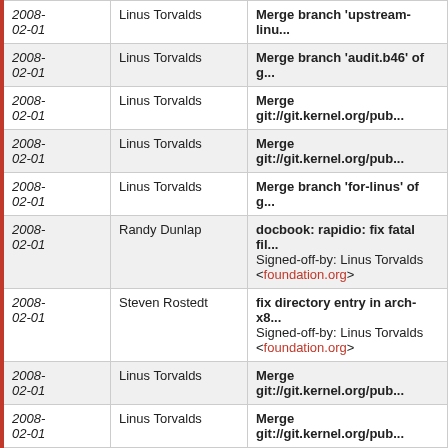| Date | Author | Commit Message |
| --- | --- | --- |
| 2008-02-01 | Linus Torvalds | Merge branch 'upstream-linu... |
| 2008-02-01 | Linus Torvalds | Merge branch 'audit.b46' of g... |
| 2008-02-01 | Linus Torvalds | Merge git://git.kernel.org/pub... |
| 2008-02-01 | Linus Torvalds | Merge git://git.kernel.org/pub... |
| 2008-02-01 | Linus Torvalds | Merge branch 'for-linus' of g... |
| 2008-02-01 | Randy Dunlap | docbook: rapidio: fix fatal fil...
Signed-off-by: Linus Torvalds <foundation.org> |
| 2008-02-01 | Steven Rostedt | fix directory entry in arch-x8...
Signed-off-by: Linus Torvalds <foundation.org> |
| 2008-02-01 | Linus Torvalds | Merge git://git.kernel.org/pub... |
| 2008-02-01 | Linus Torvalds | Merge git://git.kernel.org/pub... |
| 2008-02-01 | Olof Johansson | pasemi: Fix thinko in dma_d...
Signed-off-by: Linus Torvalds... |